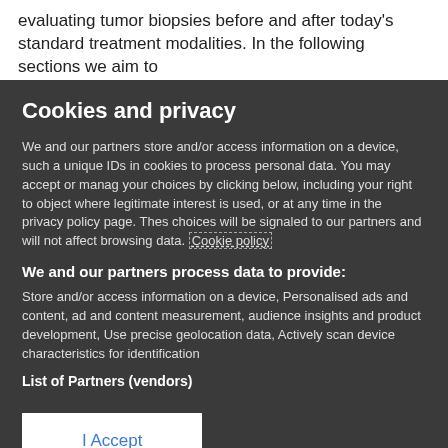evaluating tumor biopsies before and after today's standard treatment modalities. In the following sections we aim to
Cookies and privacy
We and our partners store and/or access information on a device, such as unique IDs in cookies to process personal data. You may accept or manage your choices by clicking below, including your right to object where legitimate interest is used, or at any time in the privacy policy page. These choices will be signaled to our partners and will not affect browsing data. Cookie policy
We and our partners process data to provide:
Store and/or access information on a device, Personalised ads and content, ad and content measurement, audience insights and product development, Use precise geolocation data, Actively scan device characteristics for identification
List of Partners (vendors)
I Accept